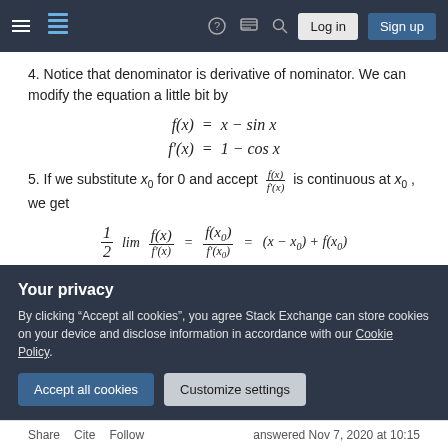Stack Exchange navigation bar with hamburger menu, logo, help, chat, search, Log in, Sign up buttons
4. Notice that denominator is derivative of nominator. We can modify the equation a little bit by
5. If we substitute x_0 for 0 and accept f(x)/f'(x) is continuous at x_0, we get
Your privacy — By clicking "Accept all cookies", you agree Stack Exchange can store cookies on your device and disclose information in accordance with our Cookie Policy.
Share  Cite  Follow    answered Nov 7, 2020 at 10:15